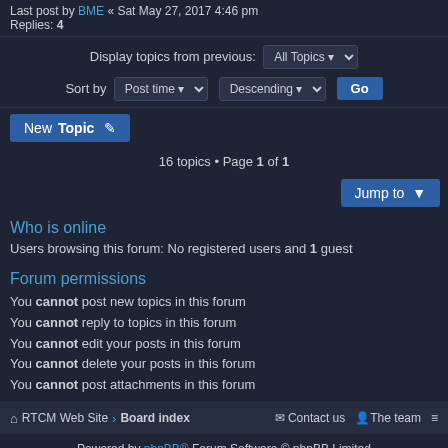Last post by BME « Sat May 27, 2017 4:46 pm
Replies: 4
Display topics from previous: All Topics
Sort by Post time Descending Go
New Topic
16 topics • Page 1 of 1
Jump to
Who is online
Users browsing this forum: No registered users and 1 guest
Forum permissions
You cannot post new topics in this forum
You cannot reply to topics in this forum
You cannot edit your posts in this forum
You cannot delete your posts in this forum
You cannot post attachments in this forum
RTCM Web Site › Board index   Contact us   The team   ≡
Powered by phpBB® Forum Software © phpBB Limited
Style by Arty